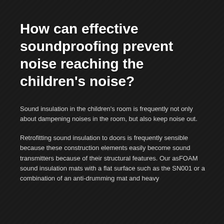How can effective soundproofing prevent noise reaching the children’s noise?
Sound insulation in the children’s room is frequently not only about dampening noises in the room, but also keep noise out.
Retrofitting sound insulation to doors is frequently sensible because these construction elements easily become sound transmitters because of their structural features. Our asFOAM sound insulation mats with a flat surface such as the SN001 or a combination of an anti-drumming mat and heavy